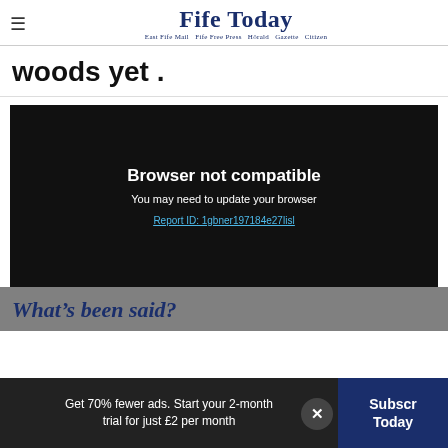Fife Today — East Fife Mail  Fife Free Press  Hörald  Gazette  Citizen
woods yet .
[Figure (screenshot): Black media player box with text: Browser not compatible. You may need to update your browser. Report ID: 1gbner197184e27lisl]
What's been said?
Get 70% fewer ads. Start your 2-month trial for just £2 per month
Subscribe Today